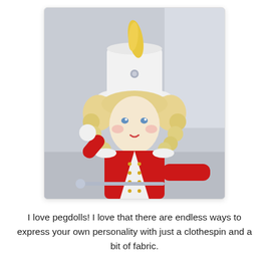[Figure (photo): A handmade clothespin pegdoll dressed as a marching band majorette with a white hat topped with a yellow feather, curly blonde felt hair, blue eyes, pink cheeks, red lips, and a red and white uniform with gold trim.]
I love pegdolls! I love that there are endless ways to express your own personality with just a clothespin and a bit of fabric.